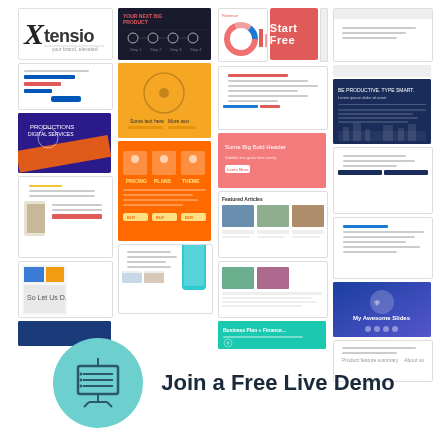[Figure (screenshot): Collage of multiple Xtensio app/template screenshots showing various page layouts, dashboards, and UI elements. Top-left shows the Xtensio logo. Top-center-right shows a red 'Start Free' button. Various colorful template previews arranged in a 4-column grid.]
[Figure (infographic): Teal circle icon with a presentation/clapperboard icon containing a list, on a white background. Next to it the text 'Join a Free Live Demo' in dark bold sans-serif.]